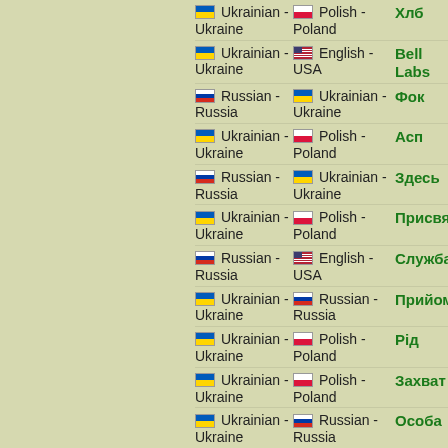| Lang1 | Lang2 | Word |
| --- | --- | --- |
| Ukrainian - Ukraine | Polish - Poland | Хлб |
| Ukrainian - Ukraine | English - USA | Bell Labs |
| Russian - Russia | Ukrainian - Ukraine | Фок |
| Ukrainian - Ukraine | Polish - Poland | Асп |
| Russian - Russia | Ukrainian - Ukraine | Здесь |
| Ukrainian - Ukraine | Polish - Poland | Присвячени |
| Russian - Russia | English - USA | Служба |
| Ukrainian - Ukraine | Russian - Russia | Прийом |
| Ukrainian - Ukraine | Polish - Poland | Рід |
| Ukrainian - Ukraine | Polish - Poland | Захват |
| Ukrainian - Ukraine | Russian - Russia | Особа |
| Russian - Russia | Ukrainian - Ukraine | Безмозглый |